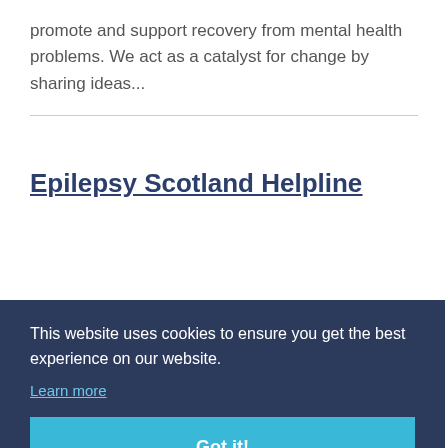promote and support recovery from mental health problems. We act as a catalyst for change by sharing ideas...
Epilepsy Scotland Helpline
This website uses cookies to ensure you get the best experience on our website.
Learn more
Got it!